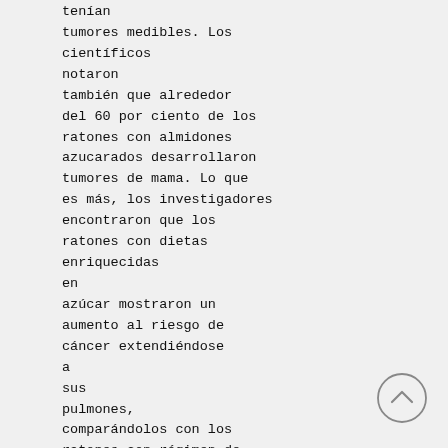tenían tumores medibles. Los científicos notaron también que alrededor del 60 por ciento de los ratones con almidones azucarados desarrollaron tumores de mama. Lo que es más, los investigadores encontraron que los ratones con dietas enriquecidas en azúcar mostraron un aumento al riesgo de cáncer extendiéndose a sus pulmones, comparándolos con los ratones con régimen de almidones controlados, y poca azúcar. Además, estos resultados siguieron